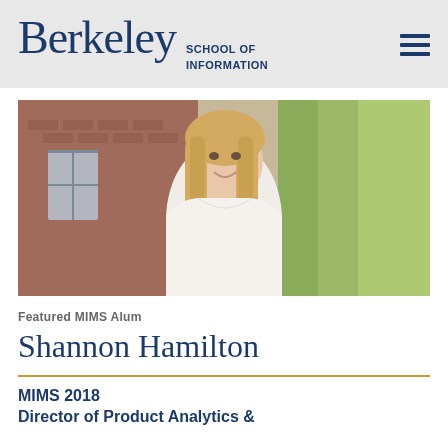Berkeley School of Information
[Figure (photo): Portrait photo of Shannon Hamilton, a woman with long blonde hair wearing a white sleeveless top, smiling outdoors with a brick building and green trees in the background.]
Featured MIMS Alum
Shannon Hamilton
MIMS 2018
Director of Product Analytics &